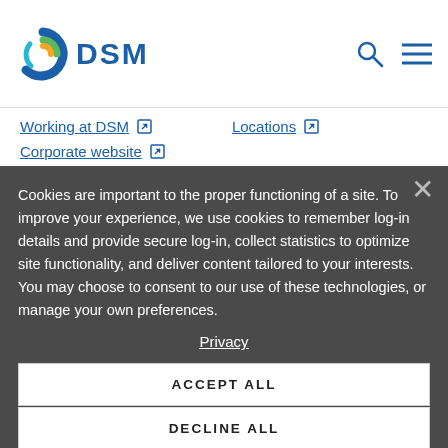[Figure (logo): DSM company logo with colorful swirl icon and blue DSM text]
Working at DSM [external link]
Locations [external link]
Corporate website [external link]
Cookies are important to the proper functioning of a site. To improve your experience, we use cookies to remember log-in details and provide secure log-in, collect statistics to optimize site functionality, and deliver content tailored to your interests. You may choose to consent to our use of these technologies, or manage your own preferences.
Privacy
ACCEPT ALL
DECLINE ALL
MANAGE SETTINGS